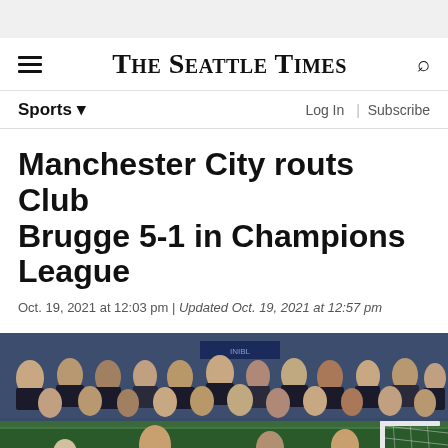The Seattle Times
Sports
Log In | Subscribe
Manchester City routs Club Brugge 5-1 in Champions League
Oct. 19, 2021 at 12:03 pm | Updated Oct. 19, 2021 at 12:57 pm
[Figure (photo): Soccer match photo showing Club Brugge player number 19 (SOUM) and other players near the goal, with a crowd of fans in blue and black in the background and an orange goalkeeper diving.]